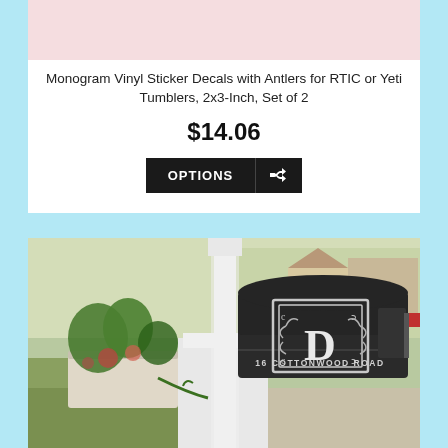[Figure (photo): Product image top — pink/light colored background partial product photo]
Monogram Vinyl Sticker Decals with Antlers for RTIC or Yeti Tumblers, 2x3-Inch, Set of 2
$14.06
[Figure (photo): Photo of a black mailbox on a white post with a monogram letter D decal and address '16 COTTONWOOD ROAD', outdoor suburban setting with plants in background]